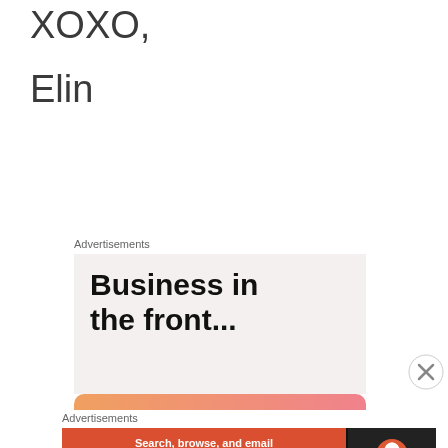XOXO,
Elin
Advertisements
[Figure (other): Advertisement banner: 'Business in the front...' text on light pink/beige background with orange gradient bar at bottom]
Advertisements
[Figure (other): DuckDuckGo advertisement: 'Search, browse, and email with more privacy. All in One Free App' on orange background with DuckDuckGo logo on dark right panel]